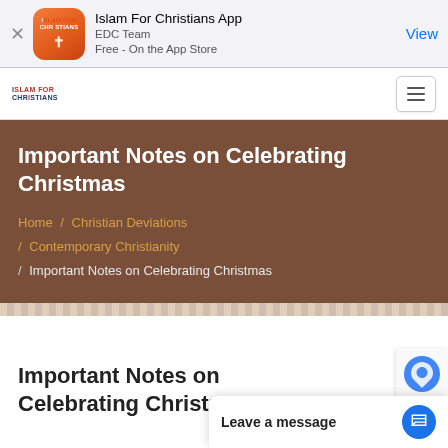[Figure (screenshot): App Store banner for Islam For Christians App by EDC Team, free on the App Store, with a View button]
Islam For Christians App
EDC Team
Free - On the App Store
[Figure (logo): Islam For Christians website logo in navigation bar with hamburger menu button]
Important Notes on Celebrating Christmas
Home / Christian Deviations / Contemporary Christianity / Important Notes on Celebrating Christmas
Important Notes on Celebrating Christmas
Leave a message